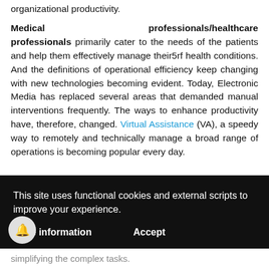organizational productivity.
Medical professionals/healthcare professionals primarily cater to the needs of the patients and help them effectively manage their5rf health conditions. And the definitions of operational efficiency keep changing with new technologies becoming evident. Today, Electronic Media has replaced several areas that demanded manual interventions frequently. The ways to enhance productivity have, therefore, changed. Virtual Assistance (VA), a speedy way to remotely and technically manage a broad range of operations is becoming popular every day.
This site uses functional cookies and external scripts to improve your experience.
More information
Accept
simplifying the complex tasks.